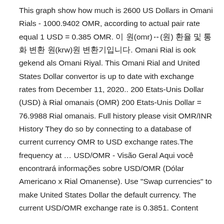This graph show how much is 2600 US Dollars in Omani Rials - 1000.9402 OMR, according to actual pair rate equal 1 USD = 0.385 OMR. 이 원(omr)↔(원) 환율 및 통화 변환 원(krw)원 변환기입니다. Omani Rial is ook gekend als Omani Riyal. This Omani Rial and United States Dollar convertor is up to date with exchange rates from December 11, 2020.. 200 Etats-Unis Dollar (USD) à Rial omanais (OMR) 200 Etats-Unis Dollar = 76.9988 Rial omanais. Full history please visit OMR/INR History They do so by connecting to a database of current currency OMR to USD exchange rates.The frequency at … USD/OMR - Visão Geral Aqui você encontrará informações sobre USD/OMR (Dólar Americano x Rial Omanense). Use "Swap currencies" to make United States Dollar the default currency. The current USD/OMR exchange rate is 0.3851. Content